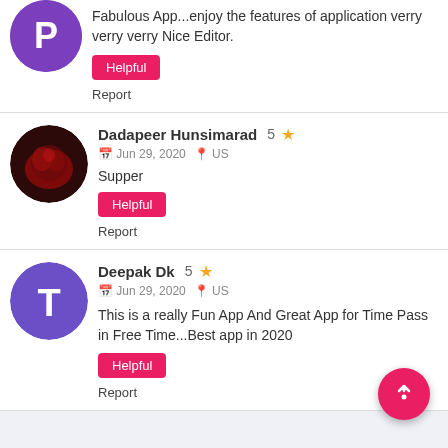Fabulous App...enjoy the features of application verry verry verry Nice Editor.
Helpful
Report
Dadapeer Hunsimarad   5 ★
Jun 29, 2020   US
Supper
Helpful
Report
Deepak Dk   5 ★
Jun 29, 2020   US
This is a really Fun App And Great App for Time Pass in Free Time...Best app in 2020
Helpful
Report